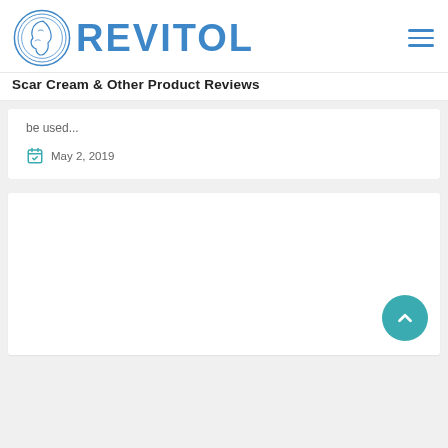[Figure (logo): Revitol logo with circular face icon and REVITOL text in blue]
Scar Cream & Other Product Reviews
be used...
May 2, 2019